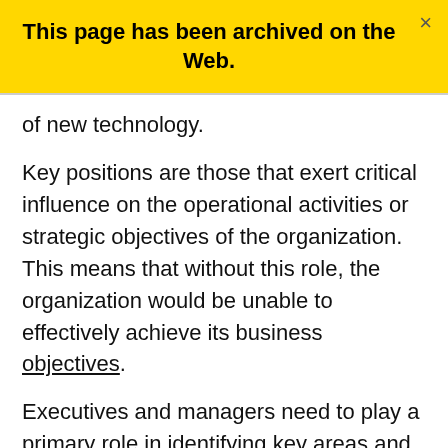This page has been archived on the Web.
of new technology.
Key positions are those that exert critical influence on the operational activities or strategic objectives of the organization. This means that without this role, the organization would be unable to effectively achieve its business objectives.
Executives and managers need to play a primary role in identifying key areas and positions because they are linked to the